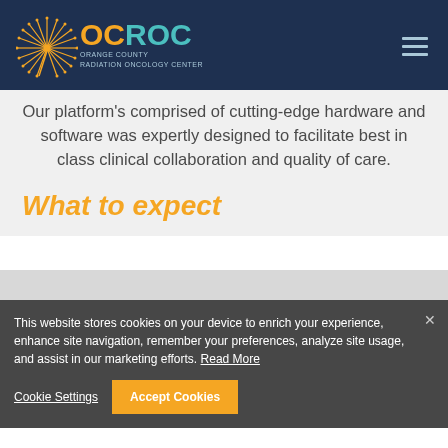[Figure (logo): OCROC - Orange County Radiation Oncology Center logo with sunburst graphic on dark navy header bar]
Our platform's comprised of cutting-edge hardware and software was expertly designed to facilitate best in class clinical collaboration and quality of care.
What to expect
This website stores cookies on your device to enrich your experience, enhance site navigation, remember your preferences, analyze site usage, and assist in our marketing efforts. Read More
Cookie Settings   Accept Cookies